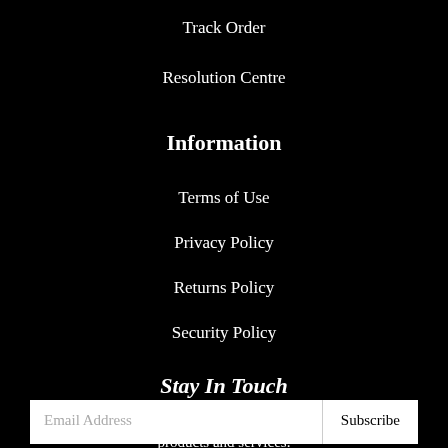Track Order
Resolution Centre
Information
Terms of Use
Privacy Policy
Returns Policy
Security Policy
Stay In Touch
Subscribe to our newsletter and we'll keep you up to date on our products and services.
Email Address  Subscribe